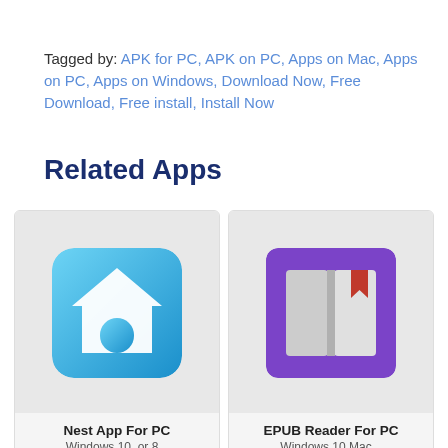Tagged by: APK for PC, APK on PC, Apps on Mac, Apps on PC, Apps on Windows, Download Now, Free Download, Free install, Install Now
Related Apps
[Figure (illustration): Nest App icon: blue gradient rounded square with white house/arch logo]
Nest App For PC
[Figure (illustration): EPUB Reader For PC icon: purple rounded square with open book and red bookmark]
EPUB Reader For PC